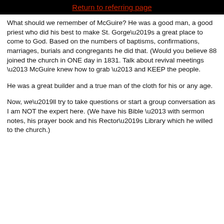Return to referring page
What should we remember of McGuire? He was a good man, a good priest who did his best to make St. Gorge’s a great place to come to God. Based on the numbers of baptisms, confirmations, marriages, burials and congregants he did that. (Would you believe 88 joined the church in ONE day in 1831. Talk about revival meetings – McGuire knew how to grab – and KEEP the people.
He was a great builder and a true man of the cloth for his or any age.
Now, we’ll try to take questions or start a group conversation as I am NOT the expert here. (We have his Bible – with sermon notes, his prayer book and his Rector’s Library which he willed to the church.)